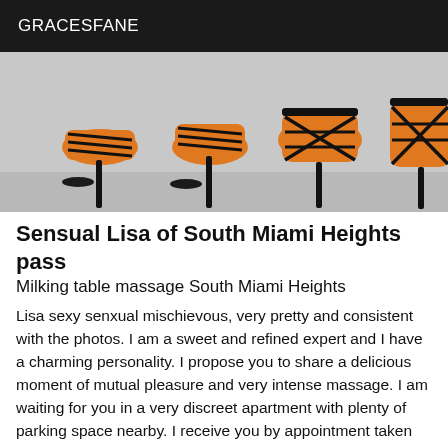GRACESFANE
[Figure (photo): Photo of orange high-heeled sandals with black straps, multiple pairs shown from ankle down against a light grey background]
Sensual Lisa of South Miami Heights pass
Milking table massage South Miami Heights
Lisa sexy senxual mischievous, very pretty and consistent with the photos. I am a sweet and refined expert and I have a charming personality. I propose you to share a delicious moment of mutual pleasure and very intense massage. I am waiting for you in a very discreet apartment with plenty of parking space nearby. I receive you by appointment taken 20 min in advance and, of course, in very sexy lingerie... I attach great importance to hygiene and I expect the same from you. A shower will be at your disposal if you wish. I will be your ideal